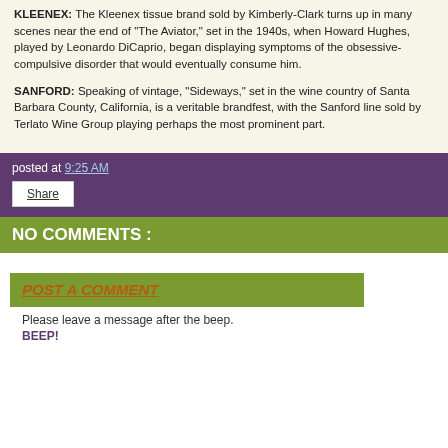KLEENEX: The Kleenex tissue brand sold by Kimberly-Clark turns up in many scenes near the end of "The Aviator," set in the 1940s, when Howard Hughes, played by Leonardo DiCaprio, began displaying symptoms of the obsessive-compulsive disorder that would eventually consume him.
SANFORD: Speaking of vintage, "Sideways," set in the wine country of Santa Barbara County, California, is a veritable brandfest, with the Sanford line sold by Terlato Wine Group playing perhaps the most prominent part.
posted at 9:25 AM
Share
NO COMMENTS :
POST A COMMENT
Please leave a message after the beep.
BEEP!